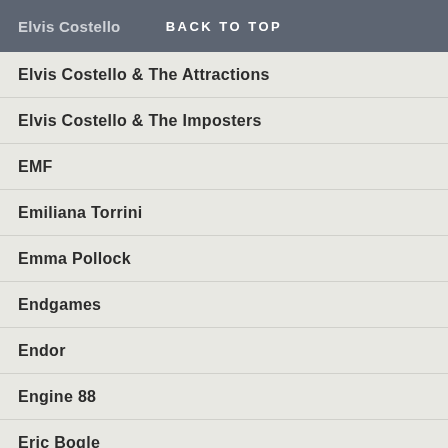Elvis Costello   BACK TO TOP
Elvis Costello & The Attractions
Elvis Costello & The Imposters
EMF
Emiliana Torrini
Emma Pollock
Endgames
Endor
Engine 88
Eric Bogle
Errors
Ette
Eugenius